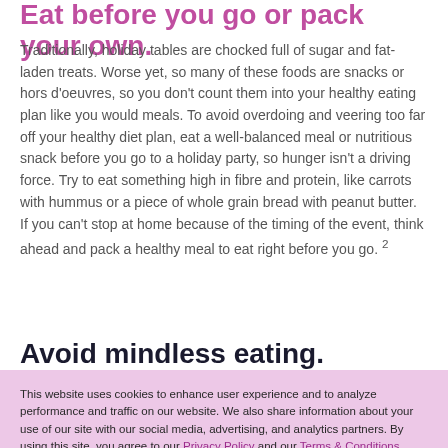Eat before you go or pack your own.
Traditionally, holiday tables are chocked full of sugar and fat-laden treats. Worse yet, so many of these foods are snacks or hors d'oeuvres, so you don't count them into your healthy eating plan like you would meals. To avoid overdoing and veering too far off your healthy diet plan, eat a well-balanced meal or nutritious snack before you go to a holiday party, so hunger isn't a driving force. Try to eat something high in fibre and protein, like carrots with hummus or a piece of whole grain bread with peanut butter. If you can't stop at home because of the timing of the event, think ahead and pack a healthy meal to eat right before you go. 2
Avoid mindless eating.
This website uses cookies to enhance user experience and to analyze performance and traffic on our website. We also share information about your use of our site with our social media, advertising, and analytics partners. By using this site, you agree to our Privacy Policy and our Terms & Conditions.
GOT IT! >